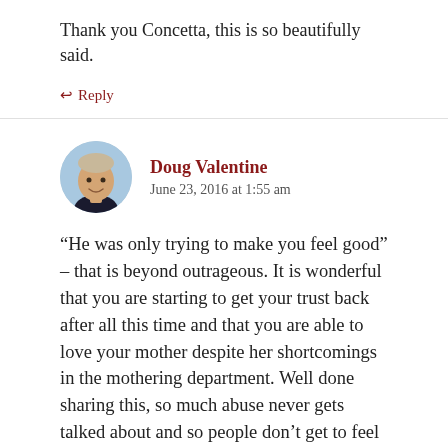Thank you Concetta, this is so beautifully said.
↩ Reply
Doug Valentine
June 23, 2016 at 1:55 am
“He was only trying to make you feel good” – that is beyond outrageous. It is wonderful that you are starting to get your trust back after all this time and that you are able to love your mother despite her shortcomings in the mothering department. Well done sharing this, so much abuse never gets talked about and so people don’t get to feel the devastating consequences that are often life long.
↩ Reply